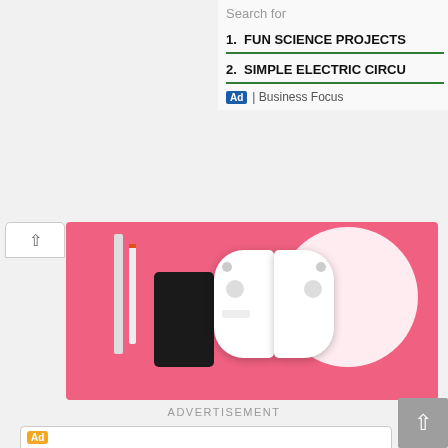Search for
1.  FUN SCIENCE PROJECTS
2.  SIMPLE ELECTRIC CIRCU...
Ad | Business Focus
[Figure (photo): Pink banner advertisement showing gaming devices including a Nintendo Switch and controllers on a pink background with white circle]
ADVERTISEMENT
[Figure (screenshot): Advertisement box with yellow Ad badge, BitLife app icon and Install button visible at bottom]